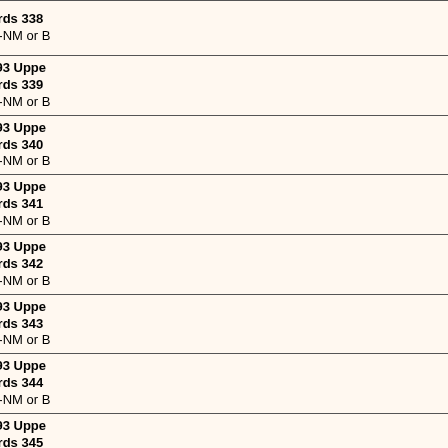| [image] | Qty | Description |
| --- | --- | --- |
|  | 3 | Cards 338
EX-NM or B |
|  | 3 | 1993 Uppe
Cards 339
EX-NM or B |
|  | 3 | 1993 Uppe
Cards 340
EX-NM or B |
|  | 3 | 1993 Uppe
Cards 341
EX-NM or B |
|  | 3 | 1993 Uppe
Cards 342
EX-NM or B |
|  | 3 | 1993 Uppe
Cards 343
EX-NM or B |
|  | 3 | 1993 Uppe
Cards 344
EX-NM or B |
|  | 3 | 1993 Uppe
Cards 345
EX-NM or B |
|  | 3 | 1993 Uppe
Cards 346 |